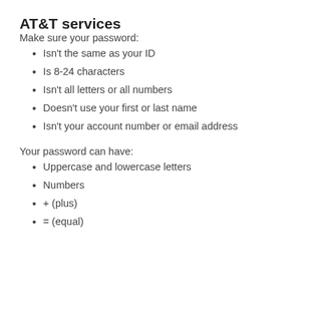AT&T services
Make sure your password:
Isn't the same as your ID
Is 8-24 characters
Isn't all letters or all numbers
Doesn't use your first or last name
Isn't your account number or email address
Your password can have:
Uppercase and lowercase letters
Numbers
+ (plus)
= (equal)